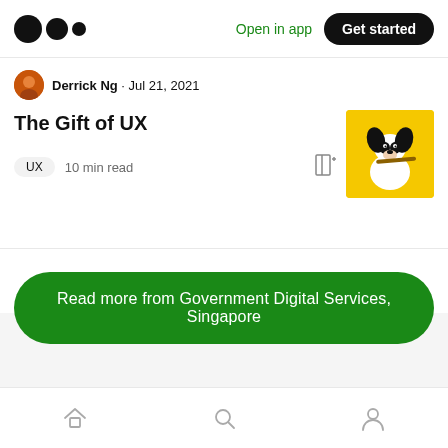Medium logo | Open in app | Get started
Derrick Ng · Jul 21, 2021
The Gift of UX
UX  10 min read
[Figure (photo): Thumbnail image of a black and white dog on a yellow background]
Read more from Government Digital Services, Singapore
Home | Search | Profile navigation icons